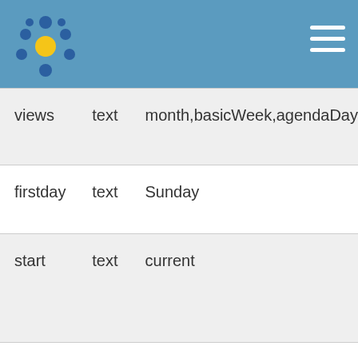[Figure (logo): Blue circular logo with yellow center dot and surrounding blue dots on a blue header bar with hamburger menu icon]
| views | text | month,basicWeek,agendaDay |
| firstday | text | Sunday |
| start | text | current |
| legend | text | none |